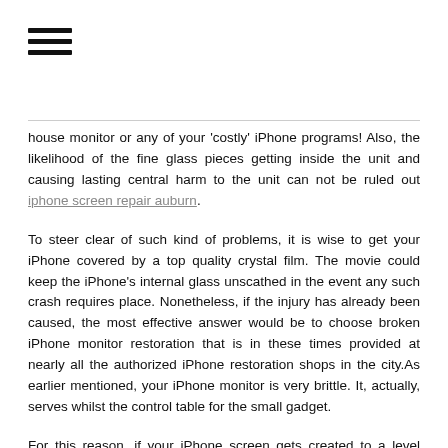[Figure (other): Hamburger menu icon with three horizontal lines]
house monitor or any of your 'costly' iPhone programs! Also, the likelihood of the fine glass pieces getting inside the unit and causing lasting central harm to the unit can not be ruled out iphone screen repair auburn.
To steer clear of such kind of problems, it is wise to get your iPhone covered by a top quality crystal film. The movie could keep the iPhone's internal glass unscathed in the event any such crash requires place. Nonetheless, if the injury has already been caused, the most effective answer would be to choose broken iPhone monitor restoration that is in these times provided at nearly all the authorized iPhone restoration shops in the city.As earlier mentioned, your iPhone monitor is very brittle. It, actually, serves whilst the control table for the small gadget.
For this reason, if your iPhone screen gets created to a level wherever you aren't able to put it to use anymore, your iPhone could become nearly useless. Also in case there is the smallest split on your iPhone screen, the device might lose its capacity to function at the ideal level. This really is only since dirt and dirt enters the device through the split and interferes